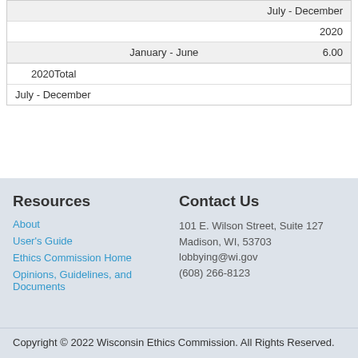| January - June |  |  |
|  | July - December |  |
|  |  | 2020 |
|  | January - June | 6.00 |
| 2020Total |  |  |
| July - December |  |  |
Resources
Contact Us
About
User's Guide
Ethics Commission Home
Opinions, Guidelines, and Documents
101 E. Wilson Street, Suite 127
Madison, WI, 53703
lobbying@wi.gov
(608) 266-8123
Copyright © 2022 Wisconsin Ethics Commission. All Rights Reserved.